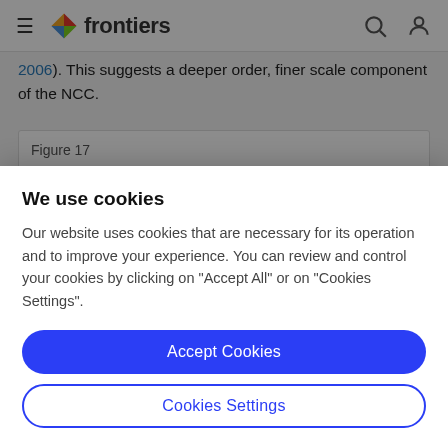frontiers
2006). This suggests a deeper order, finer scale component of the NCC.
Figure 17
We use cookies
Our website uses cookies that are necessary for its operation and to improve your experience. You can review and control your cookies by clicking on "Accept All" or on "Cookies Settings".
Accept Cookies
Cookies Settings